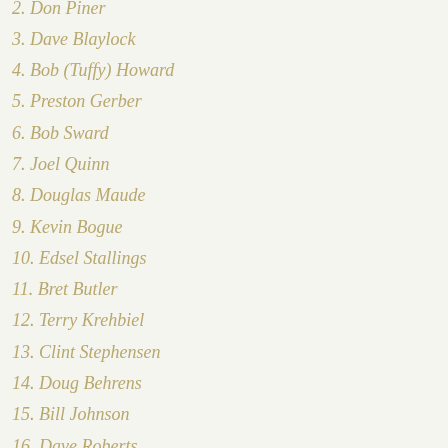2. Don Piner
3. Dave Blaylock
4. Bob (Tuffy) Howard
5. Preston Gerber
6. Bob Sward
7. Joel Quinn
8. Douglas Maude
9. Kevin Bogue
10. Edsel Stallings
11. Bret Butler
12. Terry Krehbiel
13. Clint Stephensen
14. Doug Behrens
15. Bill Johnson
16. Dave Roberts
17. Joel Rucker
18. Dave Spencer Jr.
19. Chuck Stephan
20. Lynn Benson
21. Bob Powell